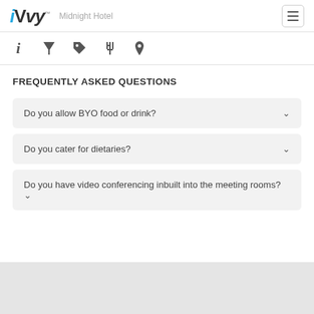iVvy  Midnight Hotel
[Figure (other): Navigation icon bar with info (i), cocktail/filter, tag, utensils, and location pin icons]
FREQUENTLY ASKED QUESTIONS
Do you allow BYO food or drink?
Do you cater for dietaries?
Do you have video conferencing inbuilt into the meeting rooms?